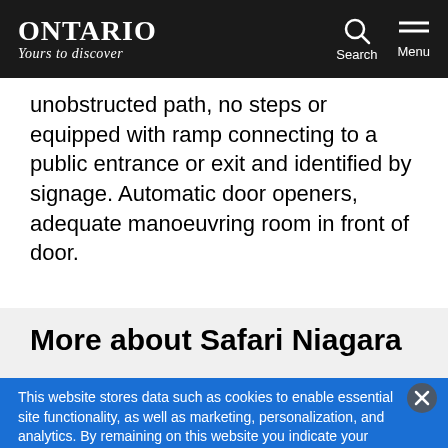Ontario – Yours to Discover | Search | Menu
unobstructed path, no steps or equipped with ramp connecting to a public entrance or exit and identified by signage. Automatic door openers, adequate manoeuvring room in front of door.
More about Safari Niagara
This website stores data such as cookies to enable essential site functionality, as well as marketing, personalization, and analytics. By remaining on this website you indicate your consent. Privacy Policy